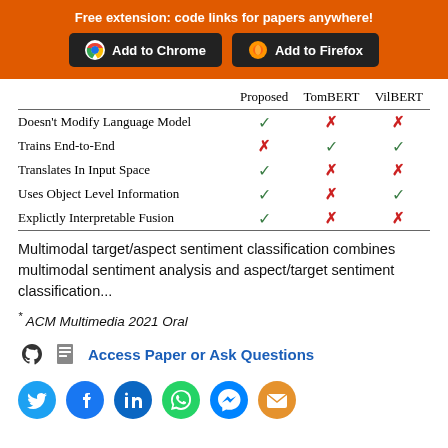Free extension: code links for papers anywhere!
|  | Proposed | TomBERT | VilBERT |
| --- | --- | --- | --- |
| Doesn't Modify Language Model | ✓ | ✗ | ✗ |
| Trains End-to-End | ✗ | ✓ | ✓ |
| Translates In Input Space | ✓ | ✗ | ✗ |
| Uses Object Level Information | ✓ | ✗ | ✓ |
| Explictly Interpretable Fusion | ✓ | ✗ | ✗ |
Multimodal target/aspect sentiment classification combines multimodal sentiment analysis and aspect/target sentiment classification...
* ACM Multimedia 2021 Oral
Access Paper or Ask Questions